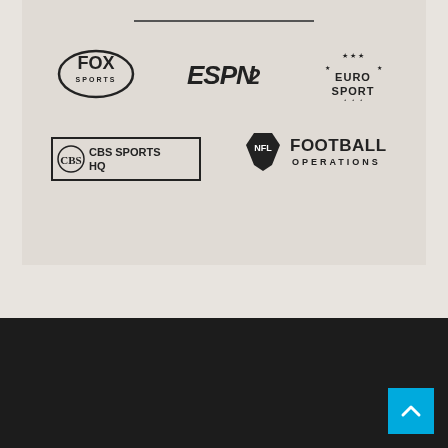[Figure (logo): Collection of sports media and organization logos: Fox Sports, ESPN2, Eurosport, CBS Sports HQ, NFL Football Operations]
[Figure (other): Back to top button, blue square with white upward chevron arrow, bottom right corner]